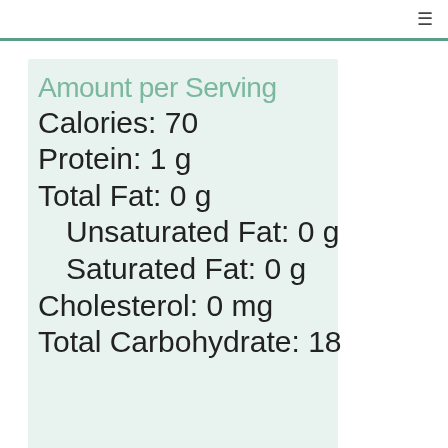Amount per Serving
Calories: 70
Protein: 1 g
Total Fat: 0 g
Unsaturated Fat: 0 g
Saturated Fat: 0 g
Cholesterol: 0 mg
Total Carbohydrate: 18